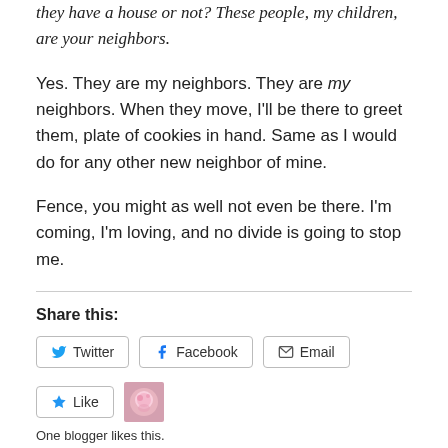they have a house or not? These people, my children, are your neighbors.
Yes. They are my neighbors. They are my neighbors. When they move, I'll be there to greet them, plate of cookies in hand. Same as I would do for any other new neighbor of mine.
Fence, you might as well not even be there. I'm coming, I'm loving, and no divide is going to stop me.
Share this:
Twitter  Facebook  Email
Like  One blogger likes this.